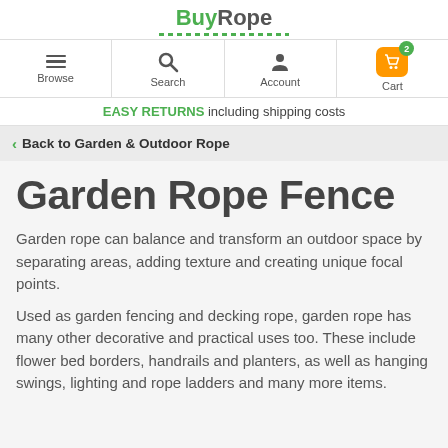BuyRope
Browse | Search | Account | Cart (2)
EASY RETURNS including shipping costs
< Back to Garden & Outdoor Rope
Garden Rope Fence
Garden rope can balance and transform an outdoor space by separating areas, adding texture and creating unique focal points.
Used as garden fencing and decking rope, garden rope has many other decorative and practical uses too. These include flower bed borders, handrails and planters, as well as hanging swings, lighting and rope ladders and many more items.